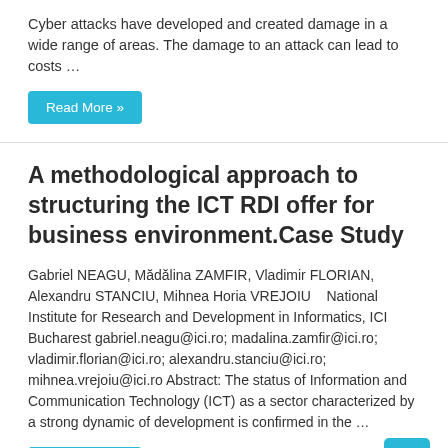Cyber attacks have developed and created damage in a wide range of areas. The damage to an attack can lead to costs …
Read More »
A methodological approach to structuring the ICT RDI offer for business environment.Case Study
Gabriel NEAGU, Mădălina ZAMFIR, Vladimir FLORIAN, Alexandru STANCIU, Mihnea Horia VREJOIU    National Institute for Research and Development in Informatics, ICI Bucharest gabriel.neagu@ici.ro; madalina.zamfir@ici.ro; vladimir.florian@ici.ro; alexandru.stanciu@ici.ro; mihnea.vrejoiu@ici.ro Abstract: The status of Information and Communication Technology (ICT) as a sector characterized by a strong dynamic of development is confirmed in the …
Read More »